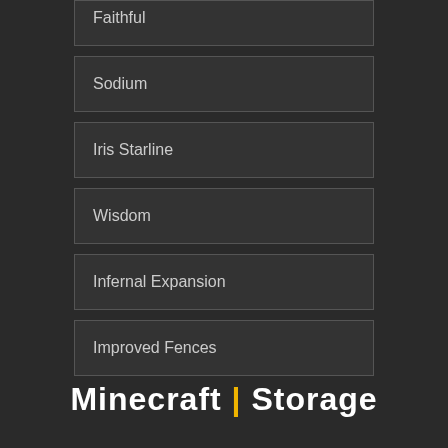Faithful
Sodium
Iris Starline
Wisdom
Infernal Expansion
Improved Fences
Minecraft | Storage